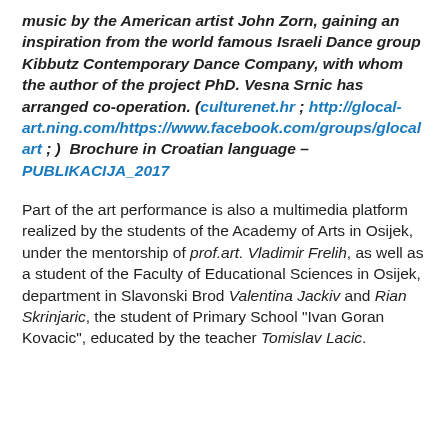music by the American artist John Zorn, gaining an inspiration from the world famous Israeli Dance group Kibbutz Contemporary Dance Company, with whom the author of the project PhD. Vesna Srnic has arranged co-operation. (culturenet.hr ; http://glocal-art.ning.com/https://www.facebook.com/groups/glocal art ; )  Brochure in Croatian language – PUBLIKACIJA_2017
Part of the art performance is also a multimedia platform realized by the students of the Academy of Arts in Osijek, under the mentorship of prof.art. Vladimir Frelih, as well as a student of the Faculty of Educational Sciences in Osijek, department in Slavonski Brod Valentina Jackiv and Rian Skrinjaric, the student of Primary School "Ivan Goran Kovacic", educated by the teacher Tomislav Lacic.